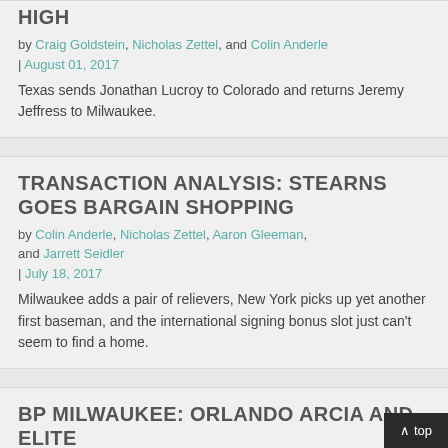HIGH
by Craig Goldstein, Nicholas Zettel, and Colin Anderle | August 01, 2017
Texas sends Jonathan Lucroy to Colorado and returns Jeremy Jeffress to Milwaukee.
TRANSACTION ANALYSIS: STEARNS GOES BARGAIN SHOPPING
by Colin Anderle, Nicholas Zettel, Aaron Gleeman, and Jarrett Seidler | July 18, 2017
Milwaukee adds a pair of relievers, New York picks up yet another first baseman, and the international signing bonus slot just can't seem to find a home.
BP MILWAUKEE: ORLANDO ARCIA AND ELITE FIELDING